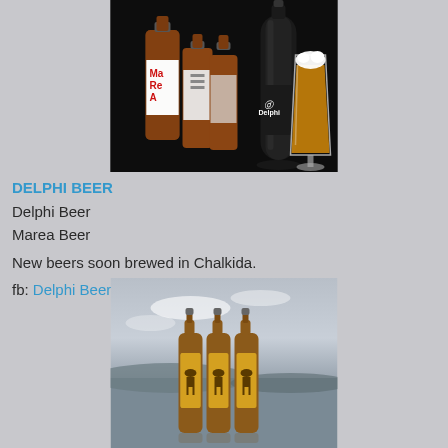[Figure (photo): Product photo of Marea Beer bottles and Delphi Beer dark bottle with a glass of golden beer, set against a black background]
DELPHI BEER
Delphi Beer
Marea Beer
New beers soon brewed in Chalkida.
fb: Delphi Beer
[Figure (photo): Three brown beer bottles with labels featuring an animal logo, placed outdoors with a scenic water and landscape background in misty/overcast light]